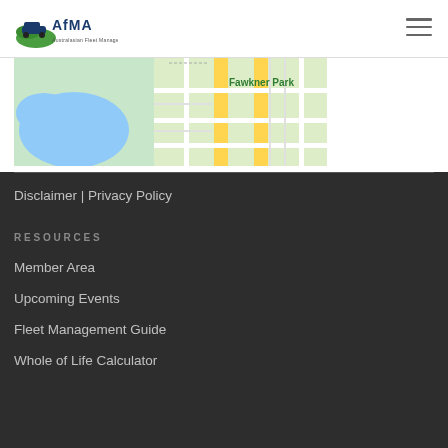AFMA
[Figure (map): Partial street map showing Fawkner Park area with green parkland, blue water feature, and yellow roads]
Disclaimer | Privacy Policy
RESOURCES
Member Area
Upcoming Events
Fleet Management Guide
Whole of Life Calculator